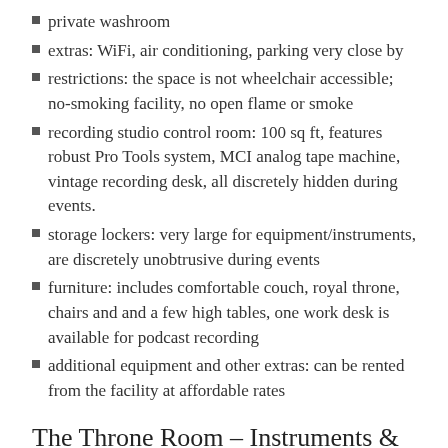private washroom
extras: WiFi, air conditioning, parking very close by
restrictions: the space is not wheelchair accessible; no-smoking facility, no open flame or smoke
recording studio control room: 100 sq ft, features robust Pro Tools system, MCI analog tape machine, vintage recording desk, all discretely hidden during events.
storage lockers: very large for equipment/instruments, are discretely unobtrusive during events
furniture: includes comfortable couch, royal throne, chairs and and a few high tables, one work desk is available for podcast recording
additional equipment and other extras: can be rented from the facility at affordable rates
The Throne Room – Instruments & Amps
drum kit, very high quality, custom pieces
drum kit, secondary kit, Premiere Olympic – top of the line